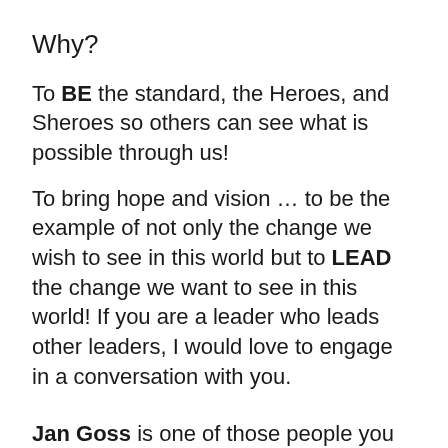Why?
To BE the standard, the Heroes, and Sheroes so others can see what is possible through us!
To bring hope and vision ... to be the example of not only the change we wish to see in this world but to LEAD the change we want to see in this world! If you are a leader who leads other leaders, I would love to engage in a conversation with you.
Jan Goss is one of those people you do not soon forget. She is a woman on a mission; a